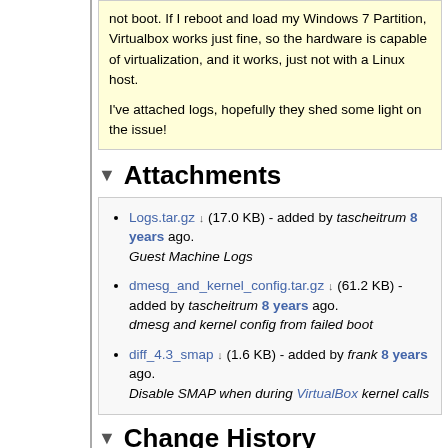not boot. If I reboot and load my Windows 7 Partition, Virtualbox works just fine, so the hardware is capable of virtualization, and it works, just not with a Linux host.

I've attached logs, hopefully they shed some light on the issue!
Attachments
Logs.tar.gz (17.0 KB) - added by tascheitrum 8 years ago. Guest Machine Logs
dmesg_and_kernel_config.tar.gz (61.2 KB) - added by tascheitrum 8 years ago. dmesg and kernel config from failed boot
diff_4.3_smap (1.6 KB) - added by frank 8 years ago. Disable SMAP when during VirtualBox kernel calls
Change History